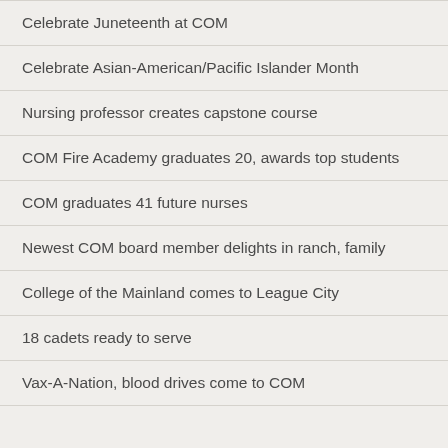Celebrate Juneteenth at COM
Celebrate Asian-American/Pacific Islander Month
Nursing professor creates capstone course
COM Fire Academy graduates 20, awards top students
COM graduates 41 future nurses
Newest COM board member delights in ranch, family
College of the Mainland comes to League City
18 cadets ready to serve
Vax-A-Nation, blood drives come to COM